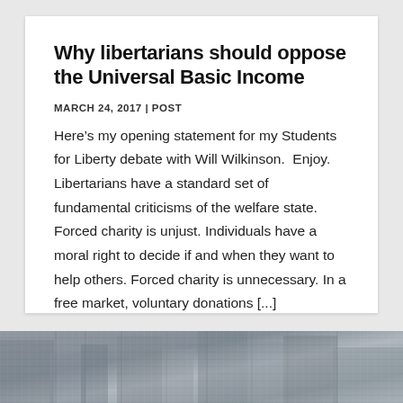Why libertarians should oppose the Universal Basic Income
MARCH 24, 2017 | POST
Here’s my opening statement for my Students for Liberty debate with Will Wilkinson.  Enjoy. Libertarians have a standard set of fundamental criticisms of the welfare state. Forced charity is unjust. Individuals have a moral right to decide if and when they want to help others. Forced charity is unnecessary. In a free market, voluntary donations [...]
[Figure (photo): Photo strip at the bottom of the page showing an urban/street scene in muted tones]